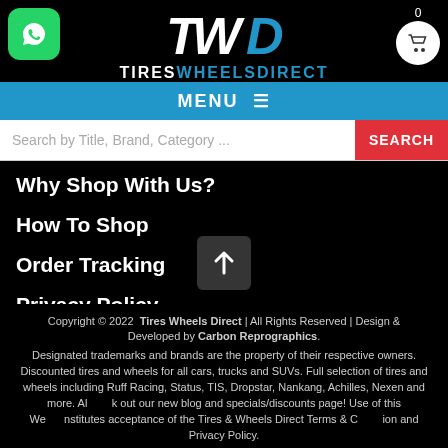[Figure (logo): Tires Wheels Direct logo with TWD text in white and blue on black background]
[Figure (illustration): Green WhatsApp icon rounded square]
[Figure (illustration): White circle with basket/cart icon, showing 0 count]
MENU
Search by Title, Brand, Category ...
SEARCH
Why Shop With Us?
How To Shop
Order Tracking
Privacy Policy
Copyright © 2022 Tires Wheels Direct | All Rights Reserved | Design & Developed by Carbon Reprographics. Designated trademarks and brands are the property of their respective owners. Discounted tires and wheels for all cars, trucks and SUVs. Full selection of tires and wheels including Ruff Racing, Status, TIS, Dropstar, Nankang, Achilles, Nexen and more. Also check out our new blog and specials/discounts page! Use of this Website constitutes acceptance of the Tires & Wheels Direct Terms & Condition and Privacy Policy.